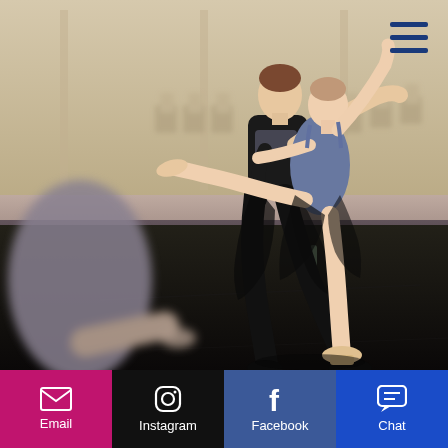[Figure (photo): Two ballet dancers rehearsing in a studio/ballroom. A male dancer in black shirt and black tights supports a female dancer in blue leotard and sheer black skirt performing an arabesque en pointe. The background shows chairs and beige walls. Another dancer is blurred in the foreground left. A hamburger menu icon (three dark blue horizontal lines) appears in the top right corner.]
Email  Instagram  Facebook  Chat